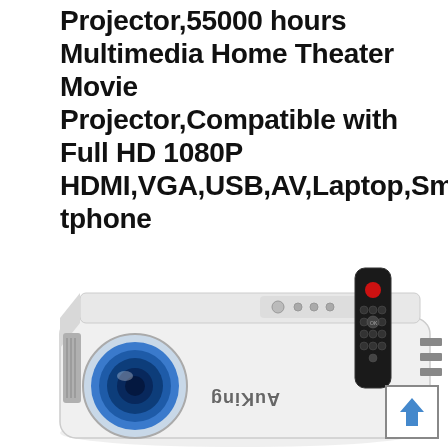Projector,55000 hours Multimedia Home Theater Movie Projector,Compatible with Full HD 1080P HDMI,VGA,USB,AV,Laptop,Smartphone
[Figure (photo): A white AuKing mini projector shown from a slight angle with a black TV remote control placed next to/on top of it. The projector lens is visible showing a blue tint. The AuKing brand name is visible on the projector side (upside-down in image). A scroll-to-top button icon appears in the bottom right corner.]